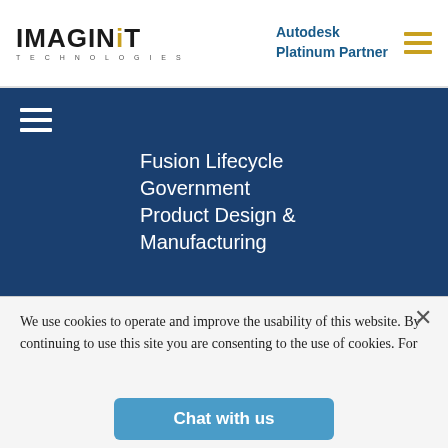[Figure (logo): IMAGINiT Technologies logo with gold dot on the 'i' and TECHNOLOGIES in small caps below]
Autodesk Platinum Partner
Fusion Lifecycle
Government
Product Design & Manufacturing
Certification
Advanced MEP
Advanced Structure
We use cookies to operate and improve the usability of this website. By continuing to use this site you are consenting to the use of cookies. For
Chat with us